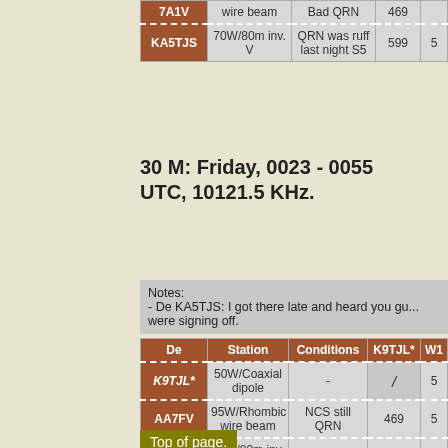| De | Station | Conditions | K9TJL* | W1... |
| --- | --- | --- | --- | --- |
| 7A1V | wire beam | Bad QRN | 469 |  |
| KA5TJS | 70W/80m inv. V | QRN was ruff last night S5 | 599 | 5 |
30 M: Friday, 0023 - 0055 UTC, 10121.5 KHz.
Notes:
- De KA5TJS: I got there late and heard you guys were signing off.
| De | Station | Conditions | K9TJL* | W1... |
| --- | --- | --- | --- | --- |
| K9TJL* | 50W/Coaxial dipole | - | / | 5 |
| AA7FV | 95W/Rhombic wire beam | NCS still QRN | 469 | 5 |
| KA5TJS | 70W/80m inv. V | - | 539 | 5 |
Top of page.